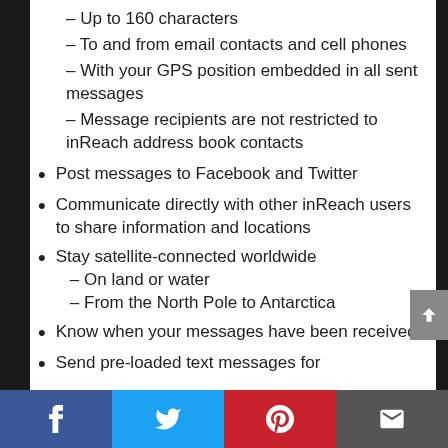– Up to 160 characters
– To and from email contacts and cell phones
– With your GPS position embedded in all sent messages
– Message recipients are not restricted to inReach address book contacts
Post messages to Facebook and Twitter
Communicate directly with other inReach users to share information and locations
Stay satellite-connected worldwide
– On land or water
– From the North Pole to Antarctica
Know when your messages have been received
Send pre-loaded text messages for